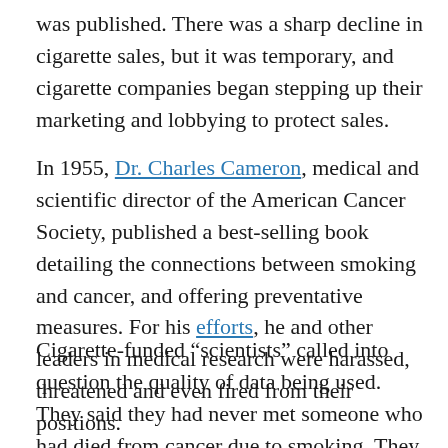was published. There was a sharp decline in cigarette sales, but it was temporary, and cigarette companies began stepping up their marketing and lobbying to protect sales.
In 1955, Dr. Charles Cameron, medical and scientific director of the American Cancer Society, published a best-selling book detailing the connections between smoking and cancer, and offering preventative measures. For his efforts, he and other leaders in medical research were harassed, threatened and even fired from their positions.
Cigarette-funded “scientists” called into question the quality of data being used. They said they had never met someone who had died from cancer due to smoking. They dismissed researchers as being “fear